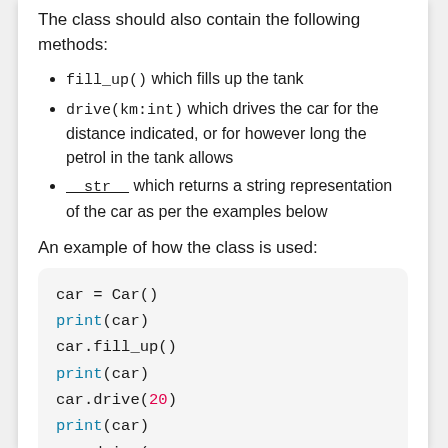The class should also contain the following methods:
fill_up() which fills up the tank
drive(km:int) which drives the car for the distance indicated, or for however long the petrol in the tank allows
__str__ which returns a string representation of the car as per the examples below
An example of how the class is used:
[Figure (screenshot): Code block showing Python usage: car = Car(), print(car), car.fill_up(), print(car), car.drive(20), print(car), and next line cut off]